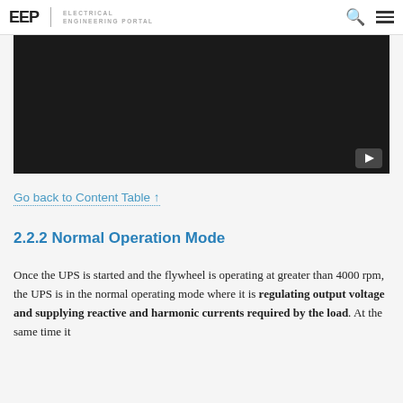EEP | ELECTRICAL ENGINEERING PORTAL
[Figure (screenshot): Dark video player thumbnail with a YouTube play button in the bottom-right corner]
Go back to Content Table ↑
2.2.2 Normal Operation Mode
Once the UPS is started and the flywheel is operating at greater than 4000 rpm, the UPS is in the normal operating mode where it is regulating output voltage and supplying reactive and harmonic currents required by the load. At the same time it